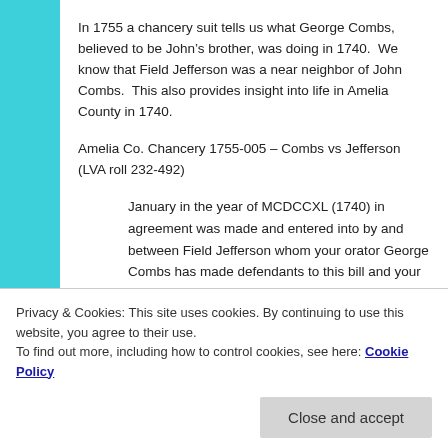In 1755 a chancery suit tells us what George Combs, believed to be John’s brother, was doing in 1740.  We know that Field Jefferson was a near neighbor of John Combs.  This also provides insight into life in Amelia County in 1740.
Amelia Co. Chancery 1755-005 – Combs vs Jefferson (LVA roll 232-492)
January in the year of MCDCCXL (1740) in agreement was made and entered into by and between Field Jefferson whom your orator George Combs has made defendants to this bill and your orator touching your orator’s becoming or successor
crop of corn and tobacco  By virtue of which  and
Privacy & Cookies: This site uses cookies. By continuing to use this website, you agree to their use.
To find out more, including how to control cookies, see here: Cookie Policy